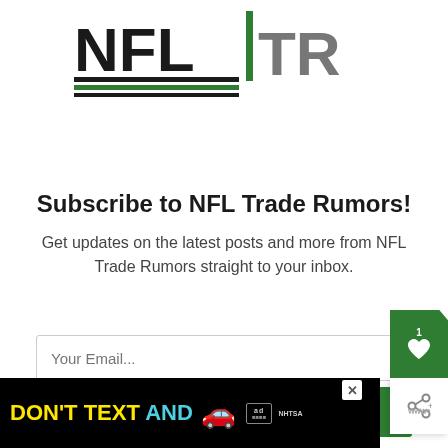[Figure (logo): NFL Trade Rumors logo with 'NFL' in black bold text with black and green horizontal lines beneath, a green vertical bar separator, and 'TR' in gray bold text]
Subscribe to NFL Trade Rumors!
Get updates on the latest posts and more from NFL Trade Rumors straight to your inbox.
[Figure (screenshot): Email subscription form with 'Your Email...' placeholder input field and a green SUBSCRIBE button]
I consent to receiving emails and personalized ads.
[Figure (infographic): Advertisement banner: DON'T TEXT AND [car emoji] with ad and NHTSA logos]